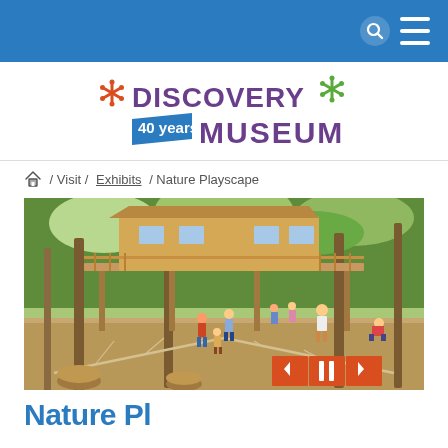Navigation bar with search and menu icons
[Figure (logo): Discovery Museum 40 years logo with asterisk decorations in red and green, purple text]
Home / Visit / Exhibits / Nature Playscape
[Figure (photo): Outdoor nature playscape at Discovery Museum featuring a treehouse building elevated on wooden posts with a walkway bridge, children playing below among trees and wooden logs with a rope net in the foreground]
Nature Pl...